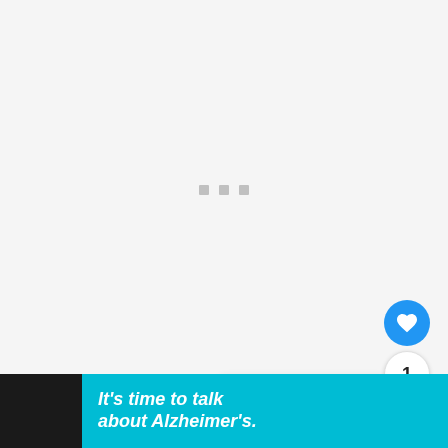[Figure (screenshot): Loading screen with three gray dots/squares on a light gray background]
[Figure (screenshot): Blue circular heart/like button with white heart icon]
1
[Figure (screenshot): Pink/magenta scroll-to-top button with upward chevron arrow]
[Figure (screenshot): What's next panel showing thumbnail and text: 'WHAT'S NEXT → Tapas that ass; YouPor...']
[Figure (screenshot): Advertisement banner: It's time to talk about Alzheimer's. LEARN MORE - Alzheimer's association logo with close button]